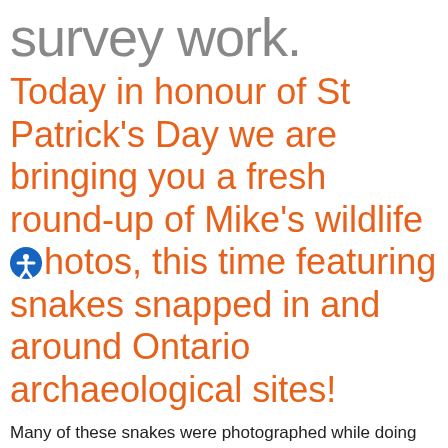survey work.
Today in honour of St Patrick's Day we are bringing you a fresh round-up of Mike's wildlife photos, this time featuring snakes snapped in and around Ontario archaeological sites!
Many of these snakes were photographed while doing survey work along Highway 69, such as the Eastern Hog-Nosed snake who happily posed for pictures while looking straight into the camera. Some of these snakes hail from